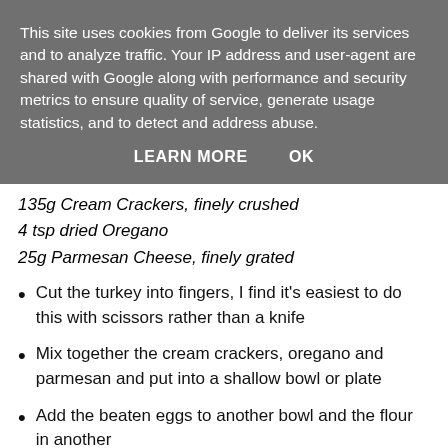This site uses cookies from Google to deliver its services and to analyze traffic. Your IP address and user-agent are shared with Google along with performance and security metrics to ensure quality of service, generate usage statistics, and to detect and address abuse.
LEARN MORE   OK
135g Cream Crackers, finely crushed
4 tsp dried Oregano
25g Parmesan Cheese, finely grated
Cut the turkey into fingers, I find it's easiest to do this with scissors rather than a knife
Mix together the cream crackers, oregano and parmesan and put into a shallow bowl or plate
Add the beaten eggs to another bowl and the flour in another
Dip the turkey into the egg, then the flour, back into the egg & then into the cream cracker crumbs, coating fully in each